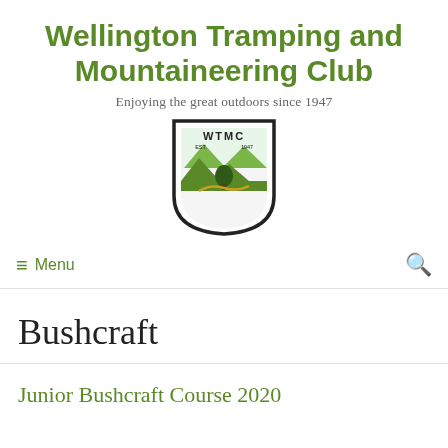Wellington Tramping and Mountaineering Club
Enjoying the great outdoors since 1947
[Figure (logo): WTMC shield logo with green mountain landscape and 'EST. 1947' text]
≡ Menu
Bushcraft
Junior Bushcraft Course 2020